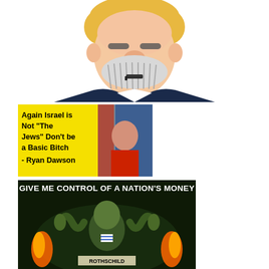[Figure (illustration): Comic-style caricature illustration of a political figure with exaggerated mustache and a gun barrel visible in the mouth area, wearing a dark suit with yellow/blonde hair]
[Figure (photo): Meme image with yellow text box on left reading 'Again Israel is Not "The Jews" Don't be a Basic Bitch - Ryan Dawson' and a photo of a young person on the right with flags in the background]
[Figure (infographic): Antisemitic meme with text 'GIVE ME CONTROL OF A NATION'S MONEY' over a dark green-tinted composite image featuring a person surrounded by snake-like figures and flames, with a label reading 'ROTHSCHILD' at the bottom]